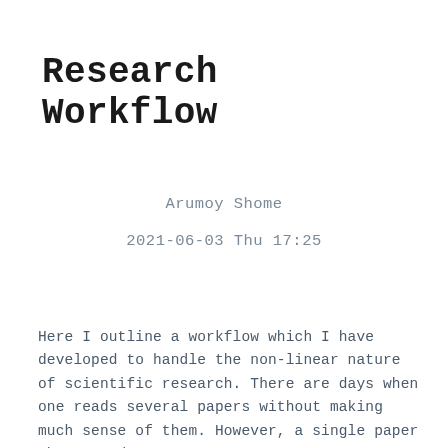Research Workflow
Arumoy Shome
2021-06-03 Thu 17:25
Here I outline a workflow which I have developed to handle the non-linear nature of scientific research. There are days when one reads several papers without making much sense of them. However, a single paper the next day